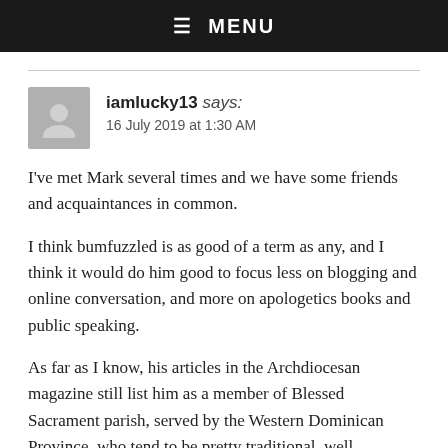☰ MENU
iamlucky13 says:
16 July 2019 at 1:30 AM
I've met Mark several times and we have some friends and acquaintances in common.
I think bumfuzzled is as good of a term as any, and I think it would do him good to focus less on blogging and online conversation, and more on apologetics books and public speaking.
As far as I know, his articles in the Archdiocesan magazine still list him as a member of Blessed Sacrament parish, served by the Western Dominican Province, who tend to be pretty traditional, well educated, and several members of which offer